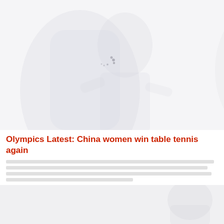[Figure (photo): Faded/washed-out photograph of a person, likely an athlete in action, very low contrast against white background. A loading spinner graphic is visible in the center of the image.]
Olympics Latest: China women win table tennis again
[Body text lines — article content, largely unreadable due to low contrast/faded rendering]
[Figure (photo): Second faded photo thumbnail at bottom of page, very low contrast, shows partial figure on right side.]